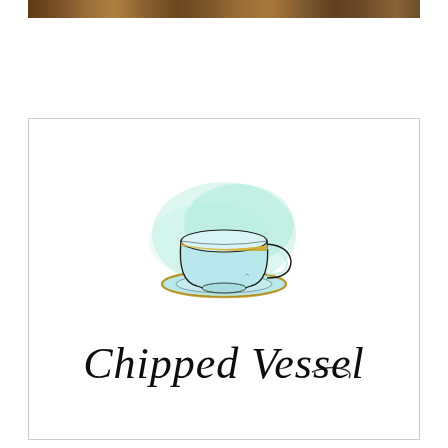[Figure (photo): Partial view of a brown textured background image at the top of the page]
[Figure (logo): Chipped Vessel logo featuring a light blue/teal teacup with gold rim on a saucer, with a mint watercolor splash background, and the text 'Chipped Vessel' in black script below]